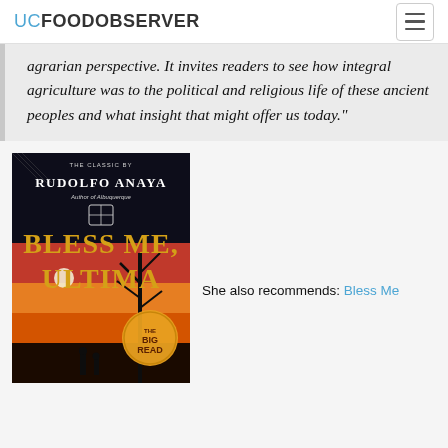UC FOOD OBSERVER
agrarian perspective. It invites readers to see how integral agriculture was to the political and religious life of these ancient peoples and what insight that might offer us today."
[Figure (photo): Book cover of 'Bless Me, Ultima' by Rudolfo Anaya - The Classic by Rudolfo Anaya, Author of Albuquerque. Shows title 'BLESS ME, ULTIMA' in large gold letters on dark background with red landscape scene. Big Read badge visible.]
She also recommends: Bless Me